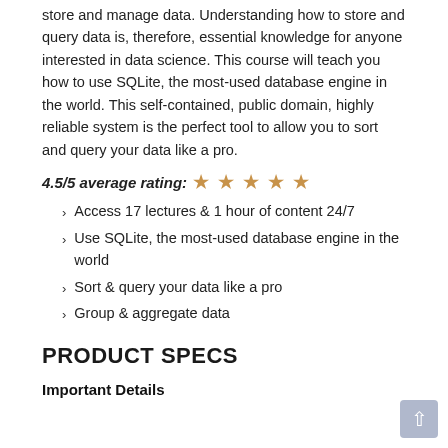store and manage data. Understanding how to store and query data is, therefore, essential knowledge for anyone interested in data science. This course will teach you how to use SQLite, the most-used database engine in the world. This self-contained, public domain, highly reliable system is the perfect tool to allow you to sort and query your data like a pro.
4.5/5 average rating: ★ ★ ★ ★ ★
Access 17 lectures & 1 hour of content 24/7
Use SQLite, the most-used database engine in the world
Sort & query your data like a pro
Group & aggregate data
PRODUCT SPECS
Important Details